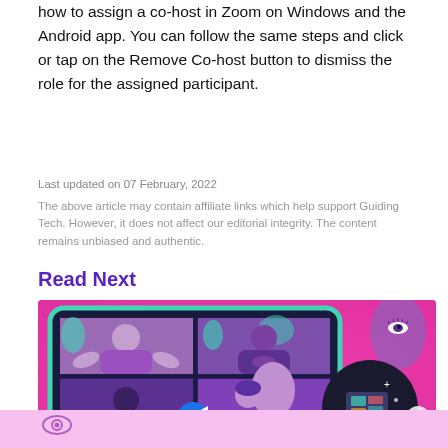how to assign a co-host in Zoom on Windows and the Android app. You can follow the same steps and click or tap on the Remove Co-host button to dismiss the role for the assigned participant.
Last updated on 07 February, 2022
The above article may contain affiliate links which help support Guiding Tech. However, it does not affect our editorial integrity. The content remains unbiased and authentic.
Read Next
[Figure (illustration): Illustration on a bright pink/magenta background showing a tablet-like device with a 2x2 grid of video call participants (people gesturing and signing), a Zoom camera icon button, a large arrow pointing right to a dark circular inset with a person at a computer workstation, and a purple hand with an eye in the top right corner. Bottom shows partially visible continuation of illustration.]